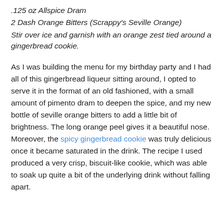.125 oz Allspice Dram
2 Dash Orange Bitters (Scrappy's Seville Orange)
Stir over ice and garnish with an orange zest tied around a gingerbread cookie.
As I was building the menu for my birthday party and I had all of this gingerbread liqueur sitting around, I opted to serve it in the format of an old fashioned, with a small amount of pimento dram to deepen the spice, and my new bottle of seville orange bitters to add a little bit of brightness. The long orange peel gives it a beautiful nose. Moreover, the spicy gingerbread cookie was truly delicious once it became saturated in the drink. The recipe I used produced a very crisp, biscuit-like cookie, which was able to soak up quite a bit of the underlying drink without falling apart.